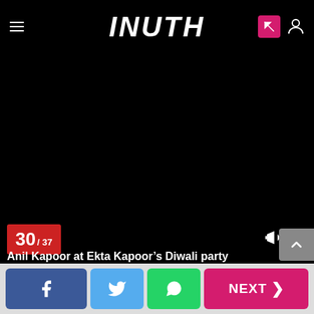INUTH
[Figure (photo): Dark/black image area showing Anil Kapoor at Ekta Kapoor's Diwali party]
Anil Kapoor at Ekta Kapoor’s Diwali party
Read More
30 / 37
NEXT >